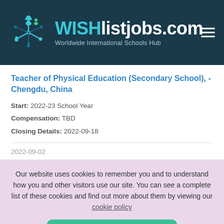WISHlistjobs.com — Worldwide International Schools Hub
Teacher of Physical Education (Secondary School), - Chengdu, China
Start: 2022-23 School Year
Compensation: TBD
Closing Details: 2022-09-18
2022-09-02
Our website uses cookies to remember you and to understand how you and other visitors use our site. You can see a complete list of these cookies and find out more about them by viewing our cookie policy
I accept